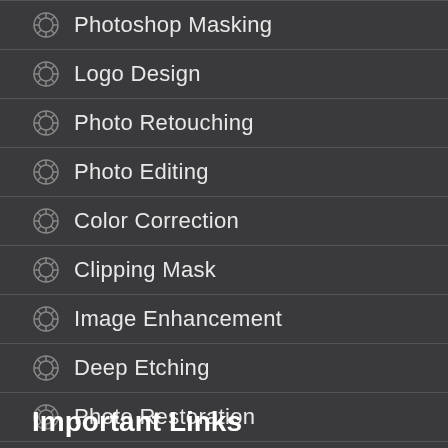Photoshop Masking
Logo Design
Photo Retouching
Photo Editing
Color Correction
Clipping Mask
Image Enhancement
Deep Etching
Photo Restoration
Raster to Vector
Important Links